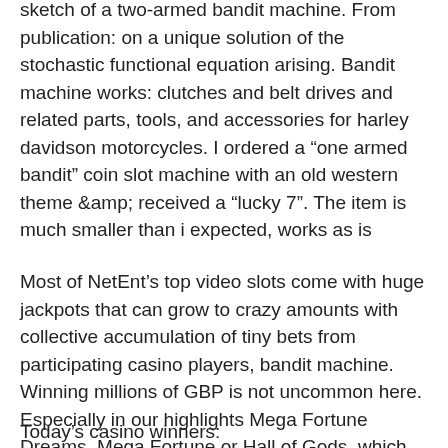sketch of a two-armed bandit machine. From publication: on a unique solution of the stochastic functional equation arising. Bandit machine works: clutches and belt drives and related parts, tools, and accessories for harley davidson motorcycles. I ordered a "one armed bandit" coin slot machine with an old western theme &amp; received a "lucky 7". The item is much smaller than i expected, works as is
Most of NetEnt's top video slots come with huge jackpots that can grow to crazy amounts with collective accumulation of tiny bets from participating casino players, bandit machine. Winning millions of GBP is not uncommon here. Especially in our highlights Mega Fortune Dreams, Mega Fortune or Hall of Gods, which are magnets among NetEnt's collection.
Today's casino winners: